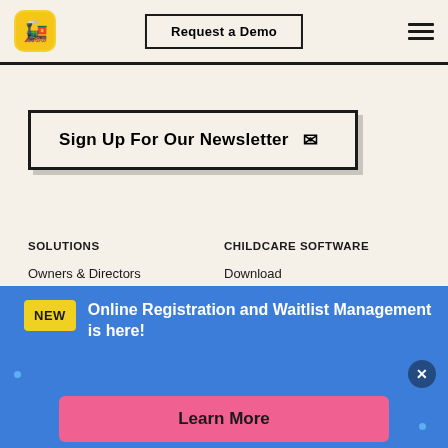[Figure (logo): Colorful train app icon logo in yellow rounded square]
Request a Demo
☰ hamburger menu icon
Sign Up For Our Newsletter ✉
SOLUTIONS
CHILDCARE SOFTWARE
Owners & Directors
Download
Parents
Testimonials
Educators
Frameworks
NEW  Online Registration and Waitlist Management is here!
Learn More